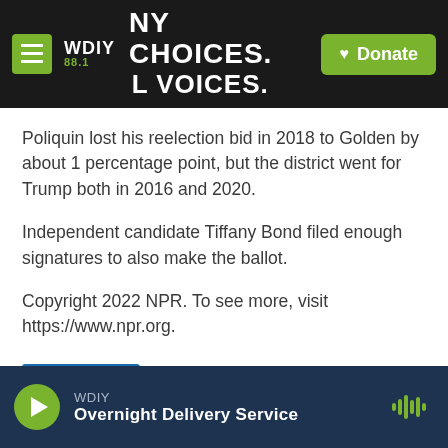WDIY 88.1 | NY CHOICES. LOCAL VOICES. | Donate
Poliquin lost his reelection bid in 2018 to Golden by about 1 percentage point, but the district went for Trump both in 2016 and 2020.
Independent candidate Tiffany Bond filed enough signatures to also make the ballot.
Copyright 2022 NPR. To see more, visit https://www.npr.org.
NPR News
WDIY | Overnight Delivery Service